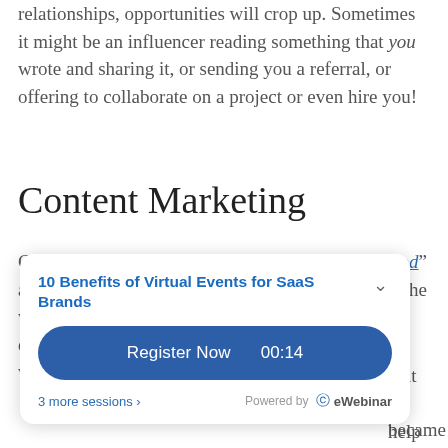relationships, opportunities will crop up. Sometimes it might be an influencer reading something that you wrote and sharing it, or sending you a referral, or offering to collaborate on a project or even hire you!
Content Marketing
Gary wrote a book entitled, “Conquering Hollywood” and he wrote the book to save himself time! Often, he would be asked the same questions or kinds of questions over and over, and eventually decided to write a book that he could help became from he
[Figure (screenshot): Popup webinar registration card: '10 Benefits of Virtual Events for SaaS Brands' with a 'Register Now 00:14' button, '3 more sessions >' link, and 'Powered by eWebinar' branding.]